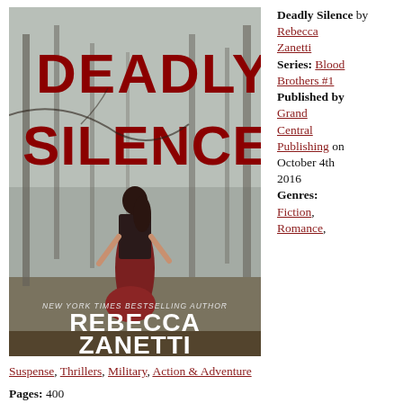[Figure (photo): Book cover of 'Deadly Silence' by Rebecca Zanetti showing a woman in a red dress running through foggy woods, with large red title text and author name at the bottom.]
Deadly Silence by Rebecca Zanetti Series: Blood Brothers #1 Published by Grand Central Publishing on October 4th 2016 Genres: Fiction, Romance, Suspense, Thrillers, Military, Action & Adventure Pages: 400
Suspense, Thrillers, Military, Action & Adventure
Pages: 400